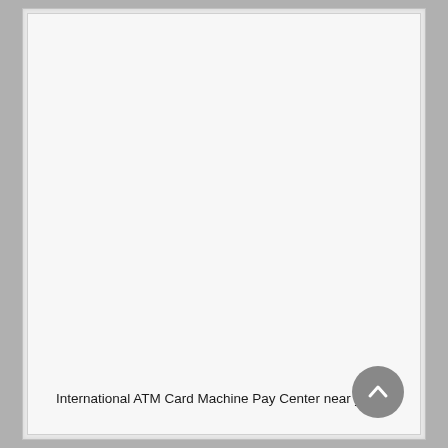International ATM Card Machine Pay Center near you.